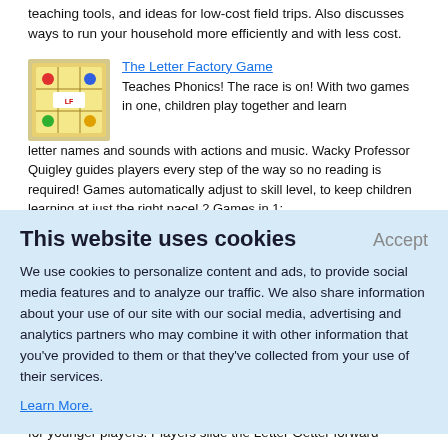teaching tools, and ideas for low-cost field trips. Also discusses ways to run your household more efficiently and with less cost.
[Figure (illustration): Colorful board game box image for The Letter Factory Game]
The Letter Factory Game
Teaches Phonics! The race is on! With two games in one, children play together and learn letter names and sounds with actions and music. Wacky Professor Quigley guides players every step of the way so no reading is required! Games automatically adjust to skill level, to keep children learning at just the right pace! 2 Games in 1:
This website uses cookies
Accept
We use cookies to personalize content and ads, to provide social media features and to analyze our traffic. We also share information about your use of our site with our social media, advertising and analytics partners who may combine it with other information that you've provided to them or that they've collected from your use of their services.
Learn More.
for younger players. Players slide the Letter Getter forward